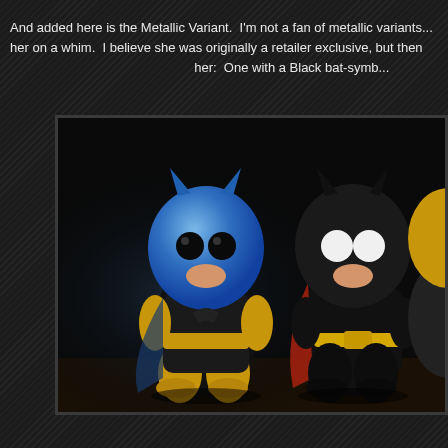And added here is the Metallic Variant.  I'm not a fan of metallic variants... her on a whim.  I believe she was originally a retailer exclusive, but then her:  One with a Black bat-symb...
[Figure (photo): Three Funko Pop vinyl figures of Batgirl/Batman characters displayed against a dark background. The leftmost figure has a metallic blue head with black and gold body. The middle figure has a black head with white eyes, red cape accent, and black outfit with yellow belt. A third partially visible figure is on the right.]